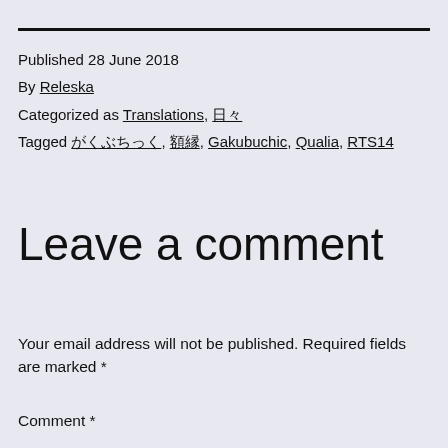Published 28 June 2018
By Releska
Categorized as Translations, 日々
Tagged がくぶちっく, 額縁, Gakubuchic, Qualia, RTS14
Leave a comment
Your email address will not be published. Required fields are marked *
Comment *